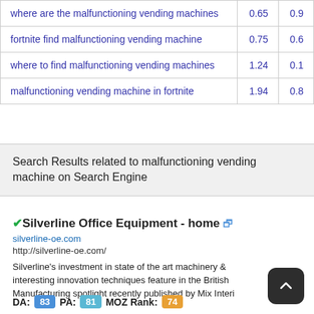| Query | Col1 | Col2 |
| --- | --- | --- |
| where are the malfunctioning vending machines | 0.65 | 0.9 |
| fortnite find malfunctioning vending machine | 0.75 | 0.6 |
| where to find malfunctioning vending machines | 1.24 | 0.1 |
| malfunctioning vending machine in fortnite | 1.94 | 0.8 |
Search Results related to malfunctioning vending machine on Search Engine
✔Silverline Office Equipment - home 🔗
silverline-oe.com
http://silverline-oe.com/
Silverline's investment in state of the art machinery & interesting innovation techniques feature in the British Manufacturing spotlight recently published by Mix Interi
DA: 83  PA: 81  MOZ Rank: 74